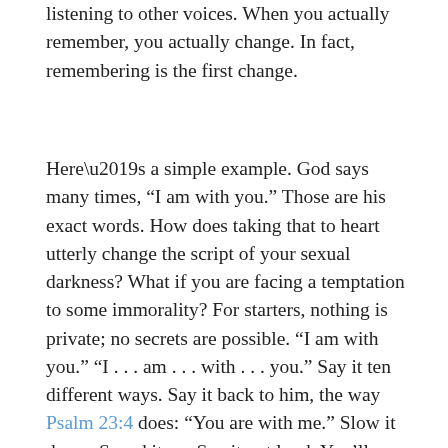listening to other voices. When you actually remember, you actually change. In fact, remembering is the first change.
Here’s a simple example. God says many times, “I am with you.” Those are his exact words. How does taking that to heart utterly change the script of your sexual darkness? What if you are facing a temptation to some immorality? For starters, nothing is private; no secrets are possible. “I am with you.” “I . . . am . . . with . . . you.” Say it ten different ways. Say it back to him, the way Psalm 23:4 does: “You are with me.” Slow it down. Speed it up. Say it out loud. You’ll probably find that you immediately need to say more: “You are with me. Help me. Make me know that. Have mercy on me